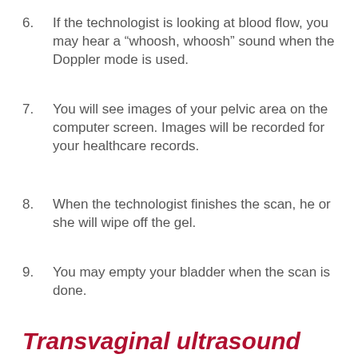6. If the technologist is looking at blood flow, you may hear a “whoosh, whoosh” sound when the Doppler mode is used.
7. You will see images of your pelvic area on the computer screen. Images will be recorded for your healthcare records.
8. When the technologist finishes the scan, he or she will wipe off the gel.
9. You may empty your bladder when the scan is done.
Transvaginal ultrasound